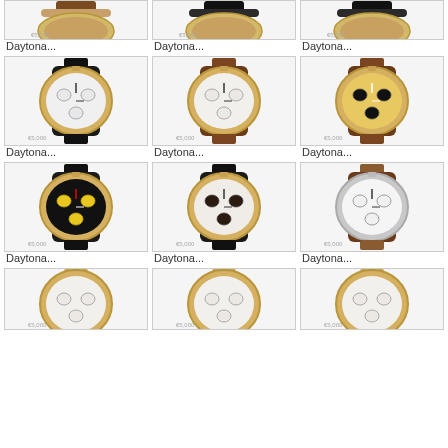[Figure (photo): Rolex Daytona watch with brown strap, partial view (top cropped)]
Daytona...
[Figure (photo): Rolex Daytona watch with black strap, partial view (top cropped)]
Daytona...
[Figure (photo): Rolex Daytona watch with black strap, partial view (top cropped)]
Daytona...
[Figure (photo): Rolex Daytona gold case, white dial with sub-dials, black leather strap]
Daytona...
[Figure (photo): Rolex Daytona gold case, white dial with sub-dials, brown leather strap]
Daytona...
[Figure (photo): Rolex Daytona gold case, yellow/champagne dial with black sub-dials, brown leather strap]
Daytona...
[Figure (photo): Rolex Daytona gold case, black dial with yellow sub-dials, black leather strap]
Daytona...
[Figure (photo): Rolex Daytona gold case, white dial with dark sub-dials, black leather strap]
Daytona...
[Figure (photo): Rolex Daytona steel case, white dial with black sub-dials, brown leather strap]
Daytona...
[Figure (photo): Rolex Daytona gold case, white dial, partial bottom view]
[Figure (photo): Rolex Daytona gold case, white dial, partial bottom view]
[Figure (photo): Rolex Daytona gold case, partial bottom view]